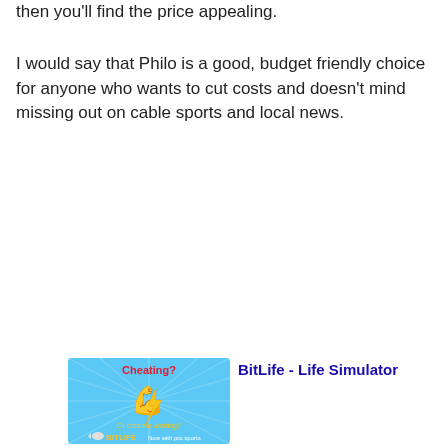then you'll find the price appealing.
I would say that Philo is a good, budget friendly choice for anyone who wants to cut costs and doesn't mind missing out on cable sports and local news.
[Figure (illustration): BitLife Life Simulator advertisement banner with blue background, flexing arm emoji, lightning bolt, 'Cheating?' text in red, 'Or creative winning?' in yellow, BitLife logo, 'Now with pro sports' text]
BitLife - Life Simulator
Ad